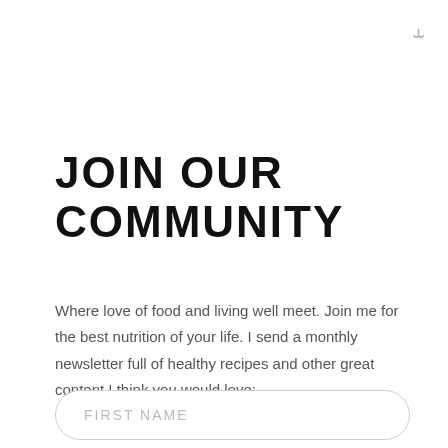[Figure (other): Small bracket or icon symbol in top-right corner]
JOIN OUR COMMUNITY
Where love of food and living well meet. Join me for the best nutrition of your life. I send a monthly newsletter full of healthy recipes and other great content I think you would love:
FIRST NAME